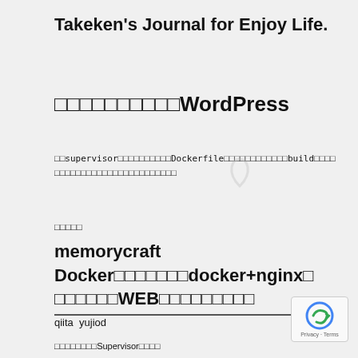Takeken's Journal for Enjoy Life.
□□□□□□□□□□WordPress
□□supervisorで□□□□□□□□□□Dockerfileを□□□□□□□□□□□buildした□□□□□□□□□□□□□□□□□□□□□□□
□□□□□
memorycraft Docker□□□□□□□docker+nginx□□□□□□□WEB□□□□□□□□□
qiita  yujiod
□□□□□□□□Supervisor□□□□